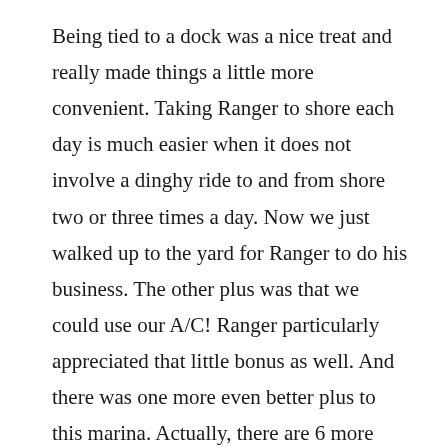Being tied to a dock was a nice treat and really made things a little more convenient. Taking Ranger to shore each day is much easier when it does not involve a dinghy ride to and from shore two or three times a day. Now we just walked up to the yard for Ranger to do his business. The other plus was that we could use our A/C! Ranger particularly appreciated that little bonus as well. And there was one more even better plus to this marina. Actually, there are 6 more pluses to this marina. Kids! There were four other kid boats here and Alexander and Victoria wasted absolutely no time at all becoming part of the gang. The gang of 8 kids, ages from 8 to 14, loved swimming and playing on the docks, on the boats and in the water. We had U.S. kids, Canadian kids, Polish kid, and Swedish kid and they were laughing and